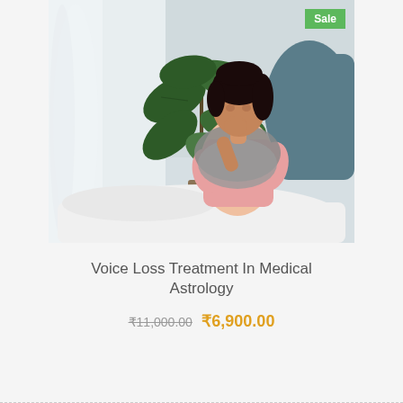[Figure (photo): A young woman sitting on a bed, wrapped in a grey scarf/shawl, coughing or covering her mouth with her fist. A large green leafy plant is visible in the background near a window with light curtains. A teal/dark blue pillow is behind her. White bedding is visible. A green 'Sale' badge is in the top right corner of the image.]
Voice Loss Treatment In Medical Astrology
₹11,000.00 ₹6,900.00